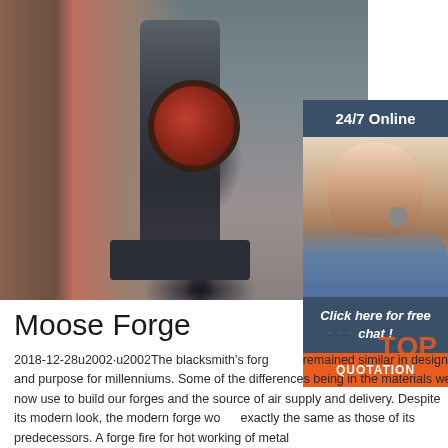[Figure (photo): Industrial blacksmith forge machine in a factory setting, with heavy machinery and a large red flywheel visible]
[Figure (photo): Customer service representative with headset, smiling, with '24/7 Online' header banner and 'Click here for free chat!' with QUOTATION button]
Moose Forge
2018-12-28u2002·u2002The blacksmith's forge has remained similar in design and purpose for millenniums. Some of the differences being in the materials we now use to build our forges and the source of air supply and delivery. Despite its modern look, the modern forge works exactly the same as those of its predecessors. A forge fire for hot working of metal